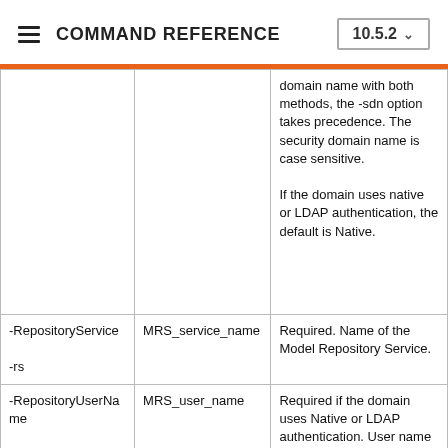COMMAND REFERENCE 10.5.2
| Option | Argument | Description |
| --- | --- | --- |
|  |  | domain name with both methods, the -sdn option takes precedence. The security domain name is case sensitive.

If the domain uses native or LDAP authentication, the default is Native. |
| -RepositoryService

-rs | MRS_service_name | Required. Name of the Model Repository Service. |
| -RepositoryUserName

-rsun | MRS_user_name | Required if the domain uses Native or LDAP authentication. User name to connect to |